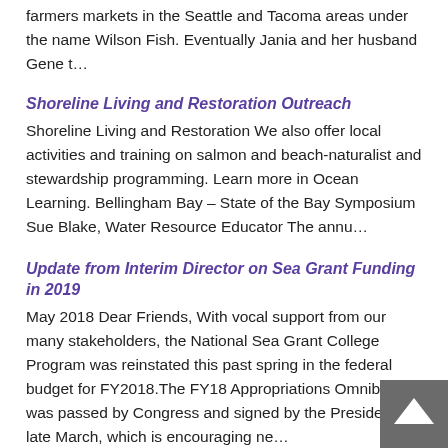farmers markets in the Seattle and Tacoma areas under the name Wilson Fish. Eventually Jania and her husband Gene t…
Shoreline Living and Restoration Outreach
Shoreline Living and Restoration We also offer local activities and training on salmon and beach-naturalist and stewardship programming. Learn more in Ocean Learning. Bellingham Bay – State of the Bay Symposium Sue Blake, Water Resource Educator The annu…
Update from Interim Director on Sea Grant Funding in 2019
May 2018 Dear Friends, With vocal support from our many stakeholders, the National Sea Grant College Program was reinstated this past spring in the federal budget for FY2018.The FY18 Appropriations Omnibus Bill was passed by Congress and signed by the President in late March, which is encouraging ne…
Update on Sea Grant Funding for 2019 from WSG Interim Director
June 15, 2018 UPDATE: We are happy to report that the House and Senate have yet again demonstrated strong…